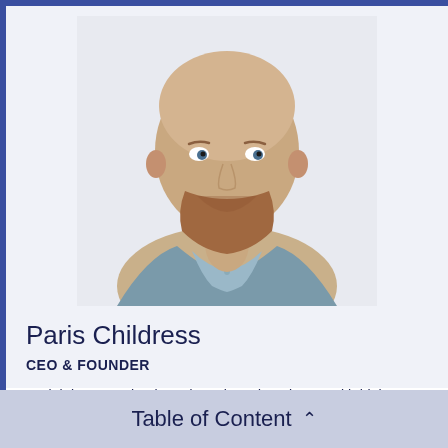[Figure (photo): Headshot of Paris Childress, a bald man with a beard wearing a gray button-up shirt, smiling against a light background]
Paris Childress
CEO & FOUNDER
My job is to match talented, motivated marketers with high growth companies, arm teams for success, then to
Table of Content ^